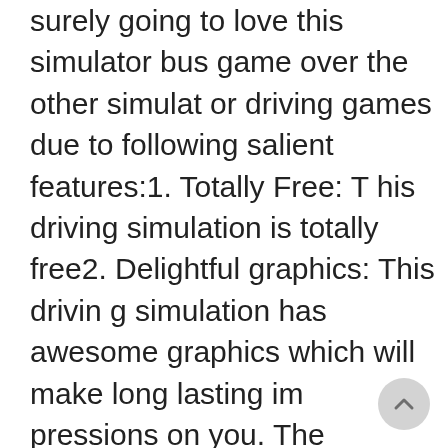surely going to love this simulator bus game over the other simulator driving games due to following salient features:1. Totally Free: This driving simulation is totally free2. Delightful graphics: This driving simulation has awesome graphics which will make long lasting impressions on you. The graphics are high quality as well as very smooth & you are going to have your best driving simulation experience while playing driving games of passenger bus.3. Entertaining music: This driving simulation has a very entertaining music for your pleasure.4. Very realistic sound effects: The sound effects in this driving simulation are very realistic and they keep you fully involved in passenger bus simulation games.5. Top Fun: Its great fun to play passenger bus simulation games as the aim is to get better until you have completed all bus simulation missions.Who should play simulator bus for multi storey plaza parking?Anybody who loves driving games and simulation games should play this driver game.When to simulator bus?For driving games and simulation games whenever you have free time enjoy playing this driver game.Don't forget to provi